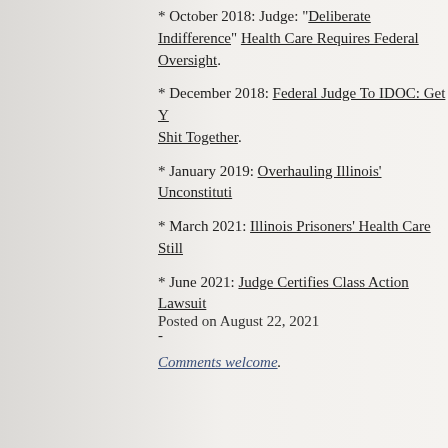* October 2018: Judge: "Deliberate Indifference" Health Care Requires Federal Oversight.
* December 2018: Federal Judge To IDOC: Get Yo Shit Together.
* January 2019: Overhauling Illinois' Unconstituti...
* March 2021: Illinois Prisoners' Health Care Still...
* June 2021: Judge Certifies Class Action Lawsuit...
-
Comments welcome.
Posted on August 22, 2021